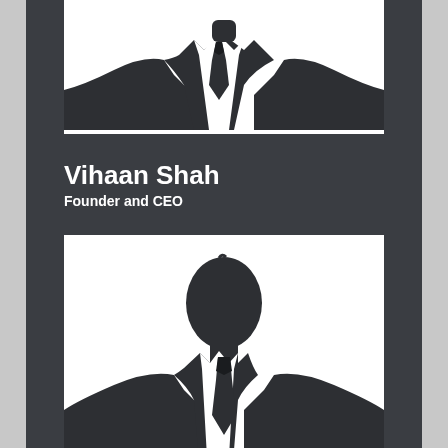[Figure (illustration): Silhouette placeholder image of a person in suit and tie (partial, cropped at top) - Vihaan Shah]
Vihaan Shah
Founder and CEO
[Figure (illustration): Silhouette placeholder image of a person in suit and tie - Ridhaan Shah]
Ridhaan Shah
Vice-President